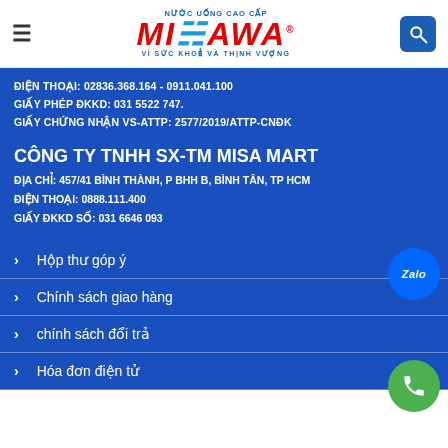[Figure (logo): Misawa nước uống cao cấp logo with hamburger menu and search button]
ĐIỆN THOẠI: 02836.368.164 - 0911.041.100
GIẤY PHÉP ĐKKD: 031 5522 747.
GIẤY CHỨNG NHẬN VS-ATTP: 2577/2019/ATTP-CNĐK
CÔNG TY TNHH SX-TM MISA MART
ĐỊA CHỈ: 457/41 BÌNH THÀNH, P BHH B, BÌNH TÂN, TP HCM
ĐIỆN THOẠI: 0888.111.400
GIẤY ĐKKD SỐ: 031 6646 093
Hộp thư góp ý
Chính sách giao hàng
chính sách đổi trả
Hóa đơn điện tử